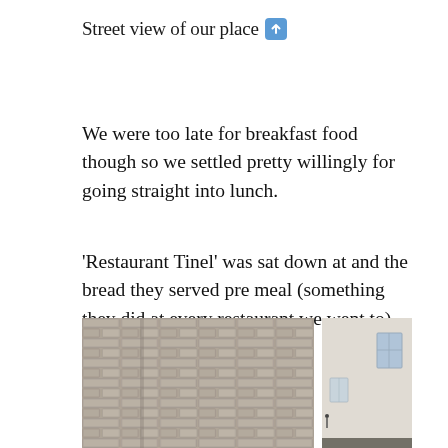Street view of our place ⬆
We were too late for breakfast food though so we settled pretty willingly for going straight into lunch.
'Restaurant Tinel' was sat down at and the bread they served pre meal (something they did at every restaurant we went to) was a warm pita style.
[Figure (photo): Two street view photos side by side: left shows a narrow stone-walled alley, right shows a building facade with windows]